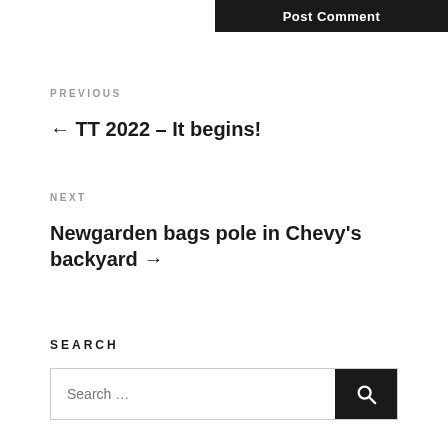Post Comment
PREVIOUS
← TT 2022 – It begins!
NEXT
Newgarden bags pole in Chevy's backyard →
SEARCH
Search …